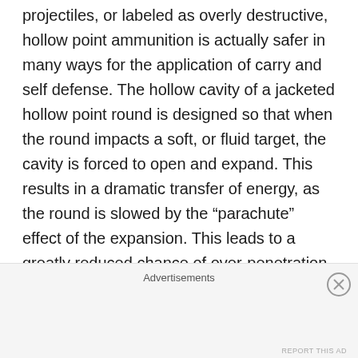projectiles, or labeled as overly destructive, hollow point ammunition is actually safer in many ways for the application of carry and self defense. The hollow cavity of a jacketed hollow point round is designed so that when the round impacts a soft, or fluid target, the cavity is forced to open and expand. This results in a dramatic transfer of energy, as the round is slowed by the “parachute” effect of the expansion. This leads to a greatly reduced chance of over-penetration and a more effective transfer of energy to the target. Both of these effects are obviously a good thing for a concealed carrier, as the energy transfer leads to an increased probability of stopping a violent attacker, and the minimized chance of over-penetration means less
Advertisements